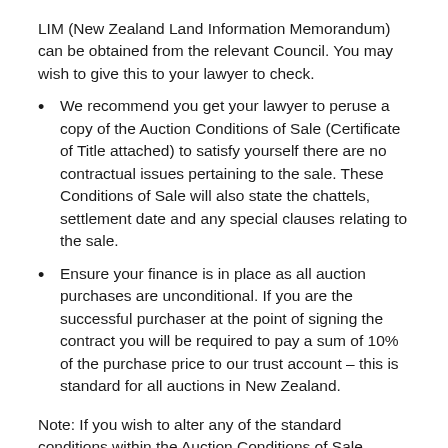LIM (New Zealand Land Information Memorandum) can be obtained from the relevant Council.  You may wish to give this to your lawyer to check.
We recommend you get your lawyer to peruse a copy of the Auction Conditions of Sale (Certificate of Title attached) to satisfy yourself there are no contractual issues pertaining to the sale.  These Conditions of Sale will also state the chattels, settlement date and any special clauses relating to the sale.
Ensure your finance is in place as all auction purchases are unconditional.  If you are the successful purchaser at the point of signing the contract you will be required to pay a sum of 10% of the purchase price to our trust account – this is standard for all auctions in New Zealand.
Note: If you wish to alter any of the standard conditions within the Auction Conditions of Sale, discuss your requirements with the Licensee Salesperson who will, in turn, then discuss your request with the Vendor – if the Vendor is in agreement then the contract will be altered to reflect the arrangements. This must be done